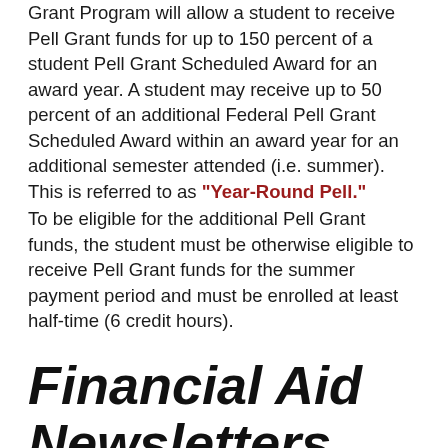Grant Program will allow a student to receive Pell Grant funds for up to 150 percent of a student Pell Grant Scheduled Award for an award year. A student may receive up to 50 percent of an additional Federal Pell Grant Scheduled Award within an award year for an additional semester attended (i.e. summer). This is referred to as "Year-Round Pell."
To be eligible for the additional Pell Grant funds, the student must be otherwise eligible to receive Pell Grant funds for the summer payment period and must be enrolled at least half-time (6 credit hours).
Financial Aid Newsletters
Volume 1.1